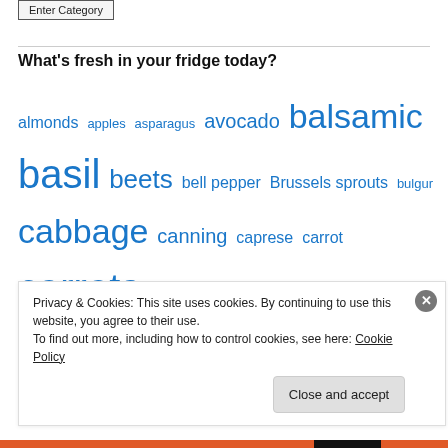Enter Category
What's fresh in your fridge today?
almonds apples asparagus avocado balsamic basil beets bell pepper Brussels sprouts bulgur cabbage canning caprese carrot carrots celery chicken chives cilantro citrus cooking corn CSA cucumber cucumbers curry dairy dill dip dressing eggplant feta food gardening ginger
Privacy & Cookies: This site uses cookies. By continuing to use this website, you agree to their use.
To find out more, including how to control cookies, see here: Cookie Policy
Close and accept